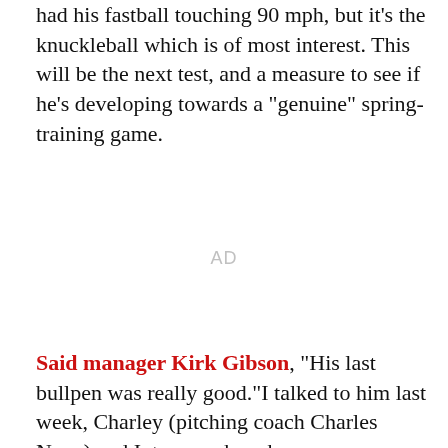had his fastball touching 90 mph, but it's the knuckleball which is of most interest. This will be the next test, and a measure to see if he's developing towards a "genuine" spring-training game.
AD
Said manager Kirk Gibson, "His last bullpen was really good."I talked to him last week, Charley (pitching coach Charles Nagy) and I, to see where he was